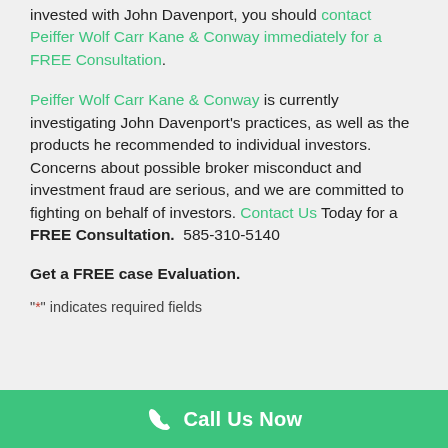invested with John Davenport, you should contact Peiffer Wolf Carr Kane & Conway immediately for a FREE Consultation.
Peiffer Wolf Carr Kane & Conway is currently investigating John Davenport's practices, as well as the products he recommended to individual investors. Concerns about possible broker misconduct and investment fraud are serious, and we are committed to fighting on behalf of investors. Contact Us Today for a FREE Consultation.  585-310-5140
Get a FREE case Evaluation.
"*" indicates required fields
[Figure (other): Green call-to-action button bar with phone icon and text 'Call Us Now']